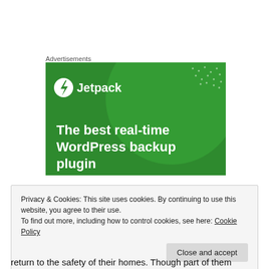Advertisements
[Figure (illustration): Jetpack advertisement banner with green background showing the Jetpack logo (circle with lightning bolt icon and 'Jetpack' text) and large white bold text reading 'The best real-time WordPress backup plugin', with decorative green circle and dot patterns]
Privacy & Cookies: This site uses cookies. By continuing to use this website, you agree to their use.
To find out more, including how to control cookies, see here: Cookie Policy
Close and accept
return to the safety of their homes. Though part of them